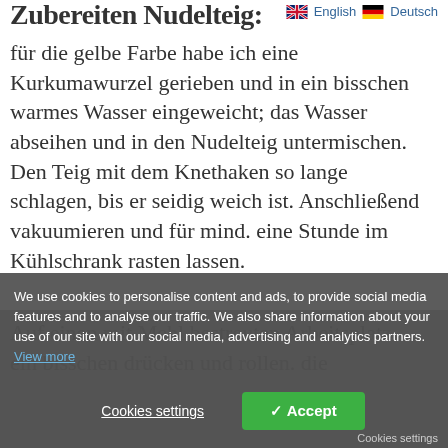Zubereiten Nudelteig:
für die gelbe Farbe habe ich eine Kurkumawurzel gerieben und in ein bisschen warmes Wasser eingeweicht; das Wasser abseihen und in den Nudelteig untermischen. Den Teig mit dem Knethaken so lange schlagen, bis er seidig weich ist. Anschließend vakuumieren und für mind. eine Stunde im Kühlschrank rasten lassen.
We use cookies to personalise content and ads, to provide social media features and to analyse our traffic. We also share information about your use of our site with our social media, advertising and analytics partners. View more
Auf einen mit Mehl bestreuten Arbeitsplatz ein bisschen drücken und rollen. die
Cookies settings